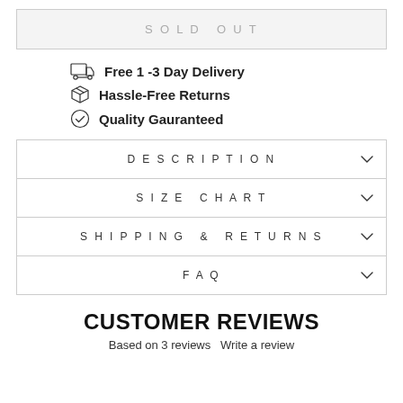SOLD OUT
Free 1 -3 Day Delivery
Hassle-Free Returns
Quality Gauranteed
DESCRIPTION
SIZE CHART
SHIPPING & RETURNS
FAQ
CUSTOMER REVIEWS
Based on 3 reviews Write a review